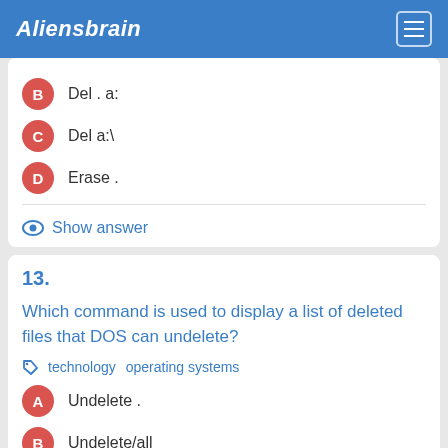Aliensbrain
B  Del . a:
C  Del a:\
D  Erase .
Show answer
13.
Which command is used to display a list of deleted files that DOS can undelete?
technology  operating systems
A  Undelete .
B  Undelete/all
C  Undelete/list
D  None of the above